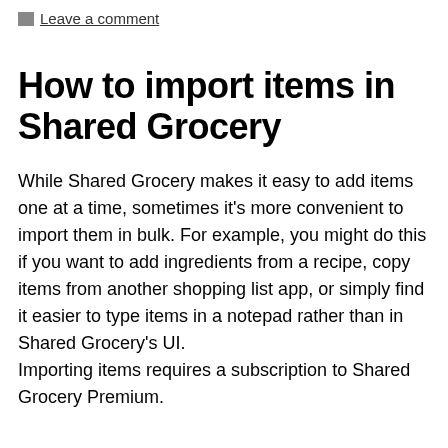Leave a comment
How to import items in Shared Grocery
While Shared Grocery makes it easy to add items one at a time, sometimes it's more convenient to import them in bulk. For example, you might do this if you want to add ingredients from a recipe, copy items from another shopping list app, or simply find it easier to type items in a notepad rather than in Shared Grocery's UI.
Importing items requires a subscription to Shared Grocery Premium.